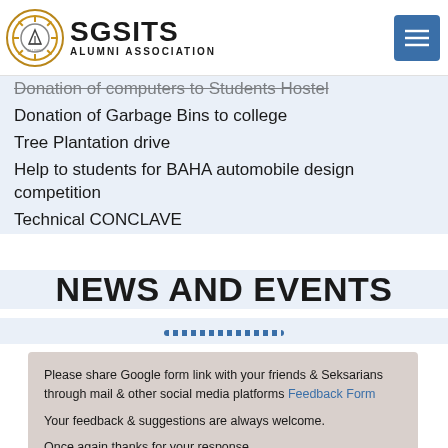SGSITS ALUMNI ASSOCIATION
Donation of computers to Students Hostel
Donation of Garbage Bins to college
Tree Plantation drive
Help to students for BAHA automobile design competition
Technical CONCLAVE
NEWS AND EVENTS
Please share Google form link with your friends & Seksarians through mail & other social media platforms Feedback Form

Your feedback & suggestions are always welcome.

Once again thanks for your response.